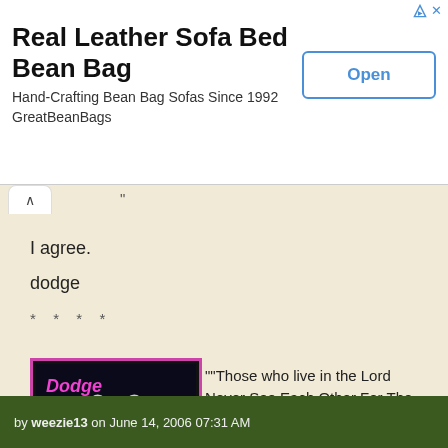[Figure (screenshot): Advertisement banner for Real Leather Sofa Bed Bean Bag. Title: 'Real Leather Sofa Bed Bean Bag', subtitle: 'Hand-Crafting Bean Bag Sofas Since 1992 / GreatBeanBags', with an 'Open' button.]
"
I agree.
dodge
* * * *
[Figure (photo): Avatar image with pink/magenta border showing white bird/dove on dark background with text 'Dodge' in pink italic font]
[Figure (other): Yellow badge reading '3000 Posts']
""Those who live in the Lord Never See Each Other For The Last Time!""
by weezie13 on June 14, 2006 07:31 AM